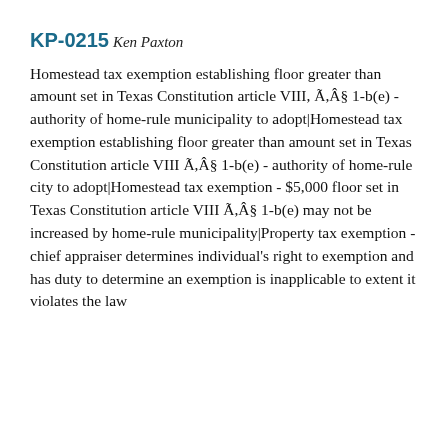KP-0215
Ken Paxton
Homestead tax exemption establishing floor greater than amount set in Texas Constitution article VIII, Ã,Â§ 1-b(e) - authority of home-rule municipality to adopt|Homestead tax exemption establishing floor greater than amount set in Texas Constitution article VIII Ã,Â§ 1-b(e) - authority of home-rule city to adopt|Homestead tax exemption - $5,000 floor set in Texas Constitution article VIII Ã,Â§ 1-b(e) may not be increased by home-rule municipality|Property tax exemption - chief appraiser determines individual's right to exemption and has duty to determine an exemption is inapplicable to extent it violates the law